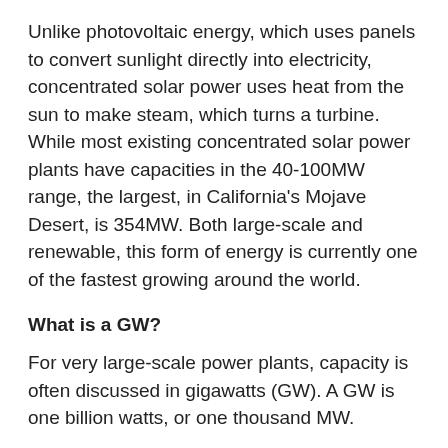Unlike photovoltaic energy, which uses panels to convert sunlight directly into electricity, concentrated solar power uses heat from the sun to make steam, which turns a turbine. While most existing concentrated solar power plants have capacities in the 40-100MW range, the largest, in California's Mojave Desert, is 354MW. Both large-scale and renewable, this form of energy is currently one of the fastest growing around the world.
What is a GW?
For very large-scale power plants, capacity is often discussed in gigawatts (GW). A GW is one billion watts, or one thousand MW.
The ill-fated Chernobyl nuclear power plant, for example, had a capacity of 4,000 MW – that's 4 GW – which accounted for about 10% of Ukraine's electricity